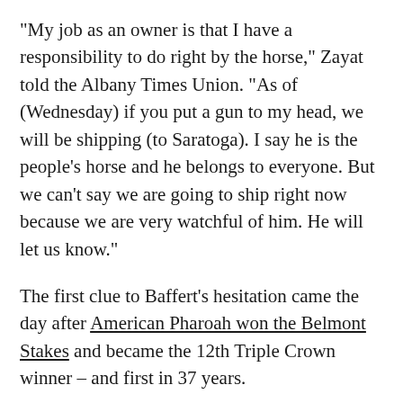"My job as an owner is that I have a responsibility to do right by the horse," Zayat told the Albany Times Union. "As of (Wednesday) if you put a gun to my head, we will be shipping (to Saratoga). I say he is the people's horse and he belongs to everyone. But we can't say we are going to ship right now because we are very watchful of him. He will let us know."
The first clue to Baffert's hesitation came the day after American Pharoah won the Belmont Stakes and became the 12th Triple Crown winner – and first in 37 years.
"I don't want to find any Onions," he said, a reference to the horse who pulled off one of the biggest upsets in racing by beating 1973 Triple Crown winner